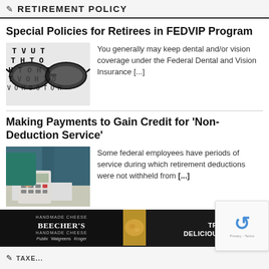RETIREMENT POLICY
Special Policies for Retirees in FEDVIP Program
[Figure (photo): Eye chart with eyeglasses in foreground]
You generally may keep dental and/or vision coverage under the Federal Dental and Vision Insurance [...]
Making Payments to Gain Credit for ‘Non-Deduction Service’
[Figure (photo): Person pressing calculator keys with papers on desk]
Some federal employees have periods of service during which retirement deductions were not withheld from [...]
[Figure (infographic): Advertisement: Beecher's Handmade Cheese - Trusted Deliciousness #NOFILTER with food image]